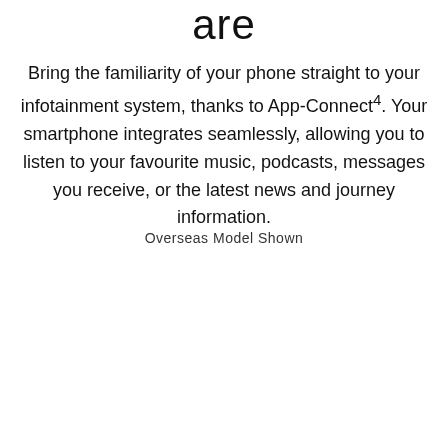are
Bring the familiarity of your phone straight to your infotainment system, thanks to App-Connect⁴. Your smartphone integrates seamlessly, allowing you to listen to your favourite music, podcasts, messages you receive, or the latest news and journey information.
Overseas Model Shown